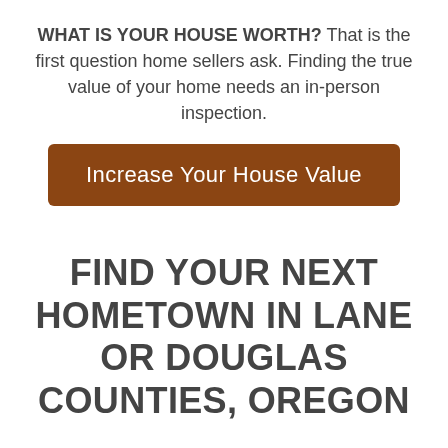WHAT IS YOUR HOUSE WORTH? That is the first question home sellers ask. Finding the true value of your home needs an in-person inspection.
[Figure (other): Button with brown background and white text reading 'Increase Your House Value']
FIND YOUR NEXT HOMETOWN IN LANE OR DOUGLAS COUNTIES, OREGON
Are you planning to move to the Western Oregon area? Take a look at these gems…